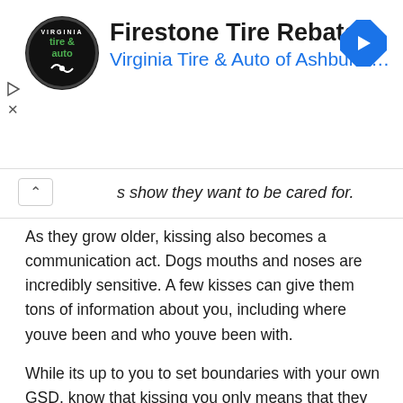[Figure (screenshot): Advertisement banner for Firestone Tire Rebate from Virginia Tire & Auto of Ashburn, with circular logo on left and blue navigation arrow icon on right]
show they want to be cared for.
As they grow older, kissing also becomes a communication act. Dogs mouths and noses are incredibly sensitive. A few kisses can give them tons of information about you, including where youve been and who youve been with.
While its up to you to set boundaries with your own GSD, know that kissing you only means that they love you and are interested in what youve been doing.
Also Check:
How Often Should You Bathe Your German Shepherd